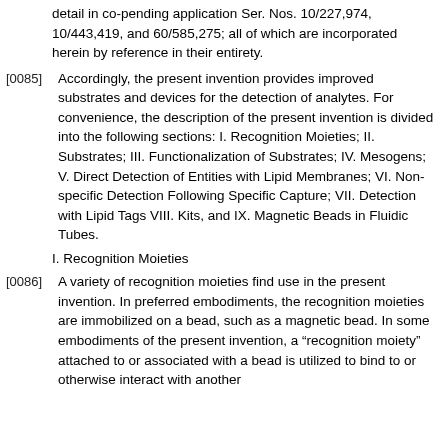detail in co-pending application Ser. Nos. 10/227,974, 10/443,419, and 60/585,275; all of which are incorporated herein by reference in their entirety.
[0085] Accordingly, the present invention provides improved substrates and devices for the detection of analytes. For convenience, the description of the present invention is divided into the following sections: I. Recognition Moieties; II. Substrates; III. Functionalization of Substrates; IV. Mesogens; V. Direct Detection of Entities with Lipid Membranes; VI. Non-specific Detection Following Specific Capture; VII. Detection with Lipid Tags VIII. Kits, and IX. Magnetic Beads in Fluidic Tubes.
I. Recognition Moieties
[0086] A variety of recognition moieties find use in the present invention. In preferred embodiments, the recognition moieties are immobilized on a bead, such as a magnetic bead. In some embodiments of the present invention, a “recognition moiety” attached to or associated with a bead is utilized to bind to or otherwise interact with another